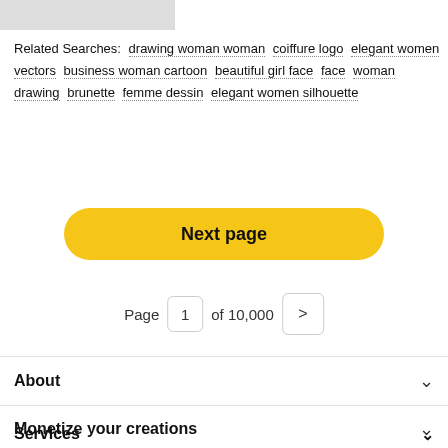[Figure (photo): Partial image of a drawing of a woman, cropped at top of page]
Related Searches: drawing woman woman  coiffure logo  elegant women vectors  business woman cartoon  beautiful girl face  face  woman drawing  brunette  femme dessin  elegant women silhouette
Next page
Page 1 of 10,000
About
Monetize your creations
Services